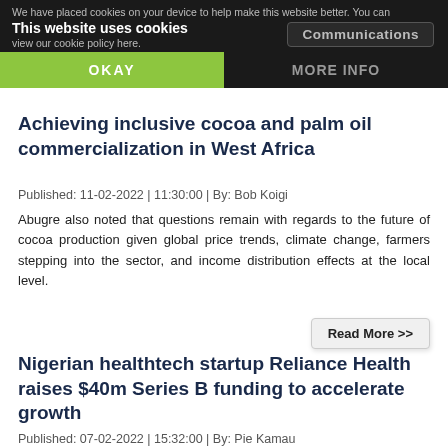Cookie banner: We have placed cookies on your device to help make this website better. You can view our cookie policy here. | This website uses cookies | OKAY | MORE INFO
Achieving inclusive cocoa and palm oil commercialization in West Africa
Published: 11-02-2022 | 11:30:00 | By: Bob Koigi
Abugre also noted that questions remain with regards to the future of cocoa production given global price trends, climate change, farmers stepping into the sector, and income distribution effects at the local level.
Read More >>
Nigerian healthtech startup Reliance Health raises $40m Series B funding to accelerate growth
Published: 07-02-2022 | 15:32:00 | By: Pie Kamau
Reliance Health, an emerging markets-focused digital healthcare provider, announced the completion of a